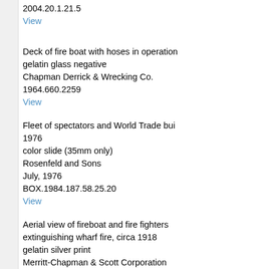2004.20.1.21.5
View
Deck of fire boat with hoses in operation
gelatin glass negative
Chapman Derrick & Wrecking Co.
1964.660.2259
View
Fleet of spectators and World Trade bui
1976
color slide (35mm only)
Rosenfeld and Sons
July, 1976
BOX.1984.187.58.25.20
View
Aerial view of fireboat and fire fighters extinguishing wharf fire, circa 1918
gelatin silver print
Merritt-Chapman & Scott Corporation
circa 1918
2008.28.8.203